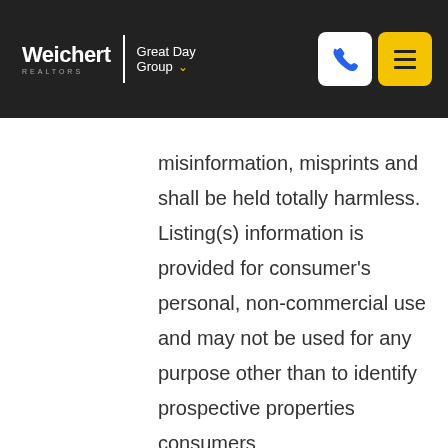Weichert REALTORS | Great Day Group
misinformation, misprints and shall be held totally harmless. Listing(s) information is provided for consumer's personal, non-commercial use and may not be used for any purpose other than to identify prospective properties consumers
Show More...